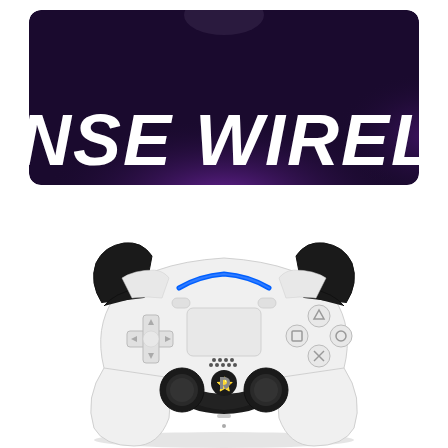[Figure (photo): Banner image with dark purple background and white bold italic text reading 'NSE WIRELESS CON' (partially cropped), with a PS5 DualSense controller logo partially visible at top]
[Figure (photo): PS5 DualSense wireless controller product photo on white background, showing the front view with white body, black triggers, blue accent light bar, D-pad on left, face buttons (triangle, square, circle, cross) on right, two analog sticks, touchpad in center, PlayStation logo, and small speaker grille]